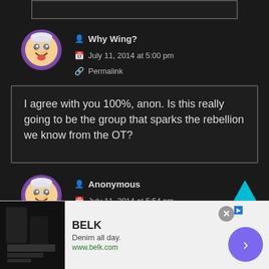[Figure (screenshot): Top partial comment box border]
Why Wing?
July 11, 2014 at 5:00 pm
Permalink
I agree with you 100%, anon. Is this really going to be the group that sparks the rebellion we know from the OT?
Anonymous
July 11, 2014 at 5:54 pm
Permalink
[Figure (screenshot): Ad banner: BELK - Denim all day. www.belk.com]